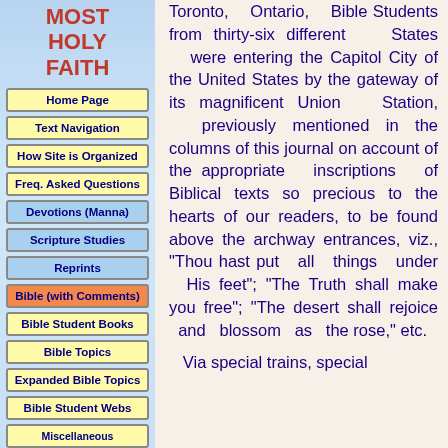MOST HOLY FAITH
Home Page
Text Navigation
How Site is Organized
Freq. Asked Questions
Devotions (Manna)
Scripture Studies
Reprints
Bible (with Comments)
Bible Student Books
Bible Topics
Expanded Bible Topics
Bible Student Webs
Miscellaneous
Toronto, Ontario, Bible Students from thirty-six different States were entering the Capitol City of the United States by the gateway of its magnificent Union Station, previously mentioned in the columns of this journal on account of the appropriate inscriptions of Biblical texts so precious to the hearts of our readers, to be found above the archway entrances, viz., "Thou hast put all things under His feet"; "The Truth shall make you free"; "The desert shall rejoice and blossom as the rose," etc.

Via special trains, special